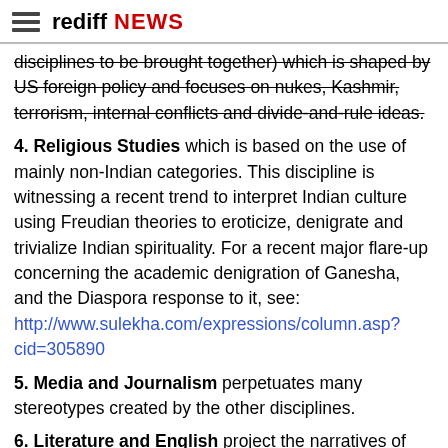rediff NEWS
disciplines to be brought together) which is shaped by US foreign policy and focuses on nukes, Kashmir, terrorism, internal conflicts and divide-and-rule ideas.
4. Religious Studies which is based on the use of mainly non-Indian categories. This discipline is witnessing a recent trend to interpret Indian culture using Freudian theories to eroticize, denigrate and trivialize Indian spirituality. For a recent major flare-up concerning the academic denigration of Ganesha, and the Diaspora response to it, see: http://www.sulekha.com/expressions/column.asp?cid=305890
5. Media and Journalism perpetuates many stereotypes created by the other disciplines.
6. Literature and English project the narratives of English language authors from India, whose often self-alienated identities are hardly positive or genuine representations of Indian culture. Unfortunately, many intellectuals in Indian are emulating these standards.